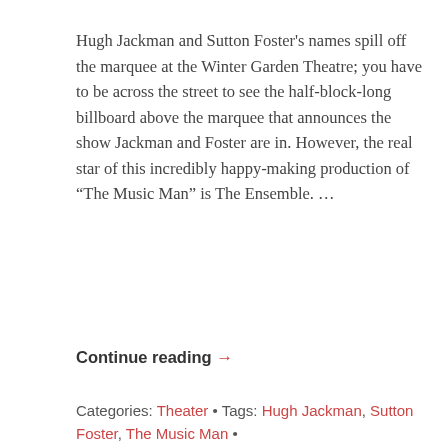Hugh Jackman and Sutton Foster's names spill off the marquee at the Winter Garden Theatre; you have to be across the street to see the half-block-long billboard above the marquee that announces the show Jackman and Foster are in. However, the real star of this incredibly happy-making production of “The Music Man” is The Ensemble. …
Continue reading →
Categories: Theater • Tags: Hugh Jackman, Sutton Foster, The Music Man •